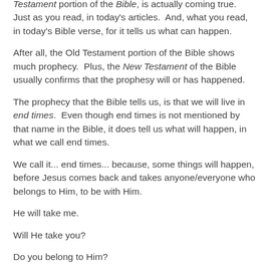Testament portion of the Bible, is actually coming true.  Just as you read, in today's articles.  And, what you read, in today's Bible verse, for it tells us what can happen.
After all, the Old Testament portion of the Bible shows much prophecy.  Plus, the New Testament of the Bible usually confirms that the prophesy will or has happened.
The prophecy that the Bible tells us, is that we will live in end times.  Even though end times is not mentioned by that name in the Bible, it does tell us what will happen, in what we call end times.
We call it... end times... because, some things will happen, before Jesus comes back and takes anyone/everyone who belongs to Him, to be with Him.
He will take me.
Will He take you?
Do you belong to Him?